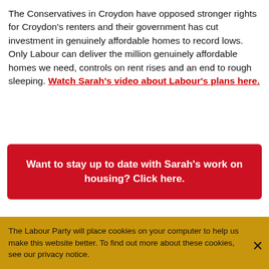The Conservatives in Croydon have opposed stronger rights for Croydon's renters and their government has cut investment in genuinely affordable homes to record lows. Only Labour can deliver the million genuinely affordable homes we need, controls on rent rises and an end to rough sleeping. Watch Sarah's video about Labour's plans here.
Want to stay up to date with Sarah's work on housing? Click here.
What a Labour government will do
The Labour Party will place cookies on your computer to help us make this website better. To find out more about these cookies, see our privacy notice.